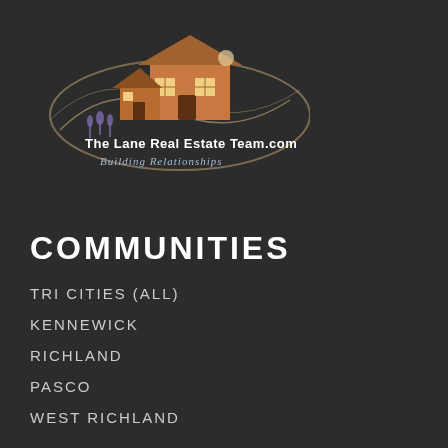[Figure (logo): The Lane Real Estate Team.com logo with house illustration and 'Building Relationships' tagline]
COMMUNITIES
TRI CITIES (ALL)
KENNEWICK
RICHLAND
PASCO
WEST RICHLAND